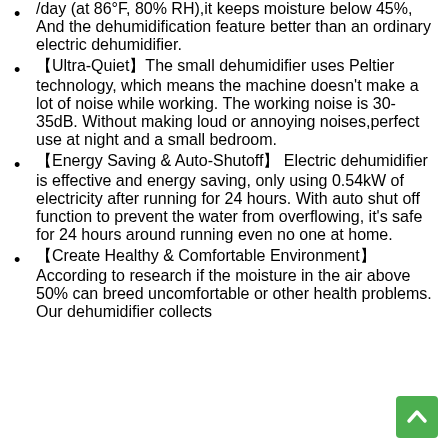/day (at 86°F, 80% RH),it keeps moisture below 45%, And the dehumidification feature better than an ordinary electric dehumidifier.
【Ultra-Quiet】The small dehumidifier uses Peltier technology, which means the machine doesn't make a lot of noise while working. The working noise is 30-35dB. Without making loud or annoying noises,perfect use at night and a small bedroom.
【Energy Saving & Auto-Shutoff】 Electric dehumidifier is effective and energy saving, only using 0.54kW of electricity after running for 24 hours. With auto shut off function to prevent the water from overflowing, it's safe for 24 hours around running even no one at home.
【Create Healthy & Comfortable Environment】 According to research if the moisture in the air above 50% can breed uncomfortable or other health problems. Our dehumidifier collects